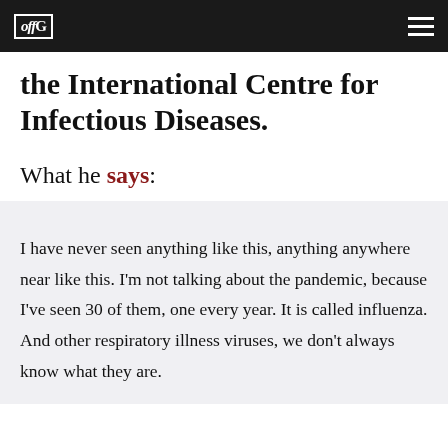offG [logo] [hamburger menu]
the International Centre for Infectious Diseases.
What he says:
I have never seen anything like this, anything anywhere near like this. I'm not talking about the pandemic, because I've seen 30 of them, one every year. It is called influenza. And other respiratory illness viruses, we don't always know what they are.